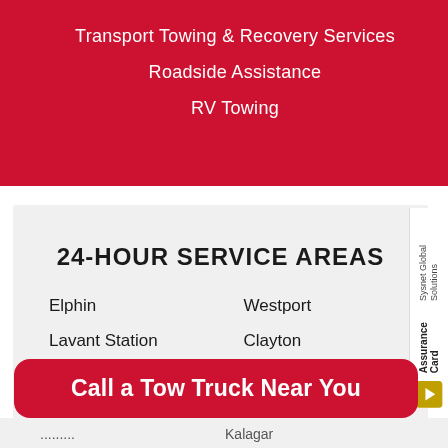Transport Towing & Recovery Services
Roadside Assistance
RV Towing
24-HOUR SERVICE AREAS
Elphin
Lavant Station
McDonalds
Westport
Clayton
Calabogie
Newboro
Kalagar
Call a Tow Truck Near You